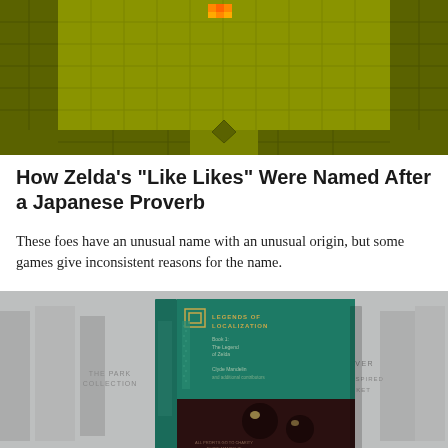[Figure (screenshot): Screenshot of a Zelda game showing a dungeon room with olive/yellow-green tiles, grid pattern walls, and a small orange character near the top center]
How Zelda's “Like Likes” Were Named After a Japanese Proverb
These foes have an unusual name with an unusual origin, but some games give inconsistent reasons for the name.
[Figure (photo): Photo of the Legends of Localization Book 1 hardcover book with teal/green cover, Japanese-inspired dust jacket, shown against a blurred background of bookshelves]
Legends of Localization Book 1 is Now Out!